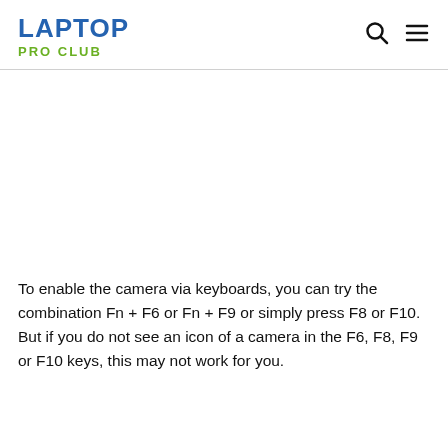LAPTOP PRO CLUB
[Figure (other): Advertisement/blank area below header navigation]
To enable the camera via keyboards, you can try the combination Fn + F6 or Fn + F9 or simply press F8 or F10. But if you do not see an icon of a camera in the F6, F8, F9 or F10 keys, this may not work for you.